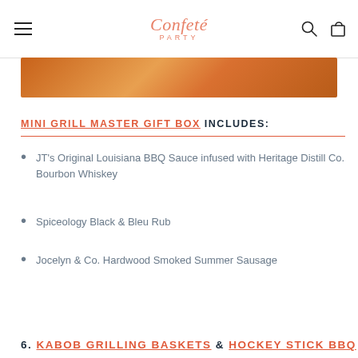Confeté PARTY
[Figure (photo): Orange/copper colored decorative band image]
MINI GRILL MASTER GIFT BOX INCLUDES:
JT's Original Louisiana BBQ Sauce infused with Heritage Distill Co. Bourbon Whiskey
Spiceology Black & Bleu Rub
Jocelyn & Co. Hardwood Smoked Summer Sausage
6. KABOB GRILLING BASKETS & HOCKEY STICK BBQ SET